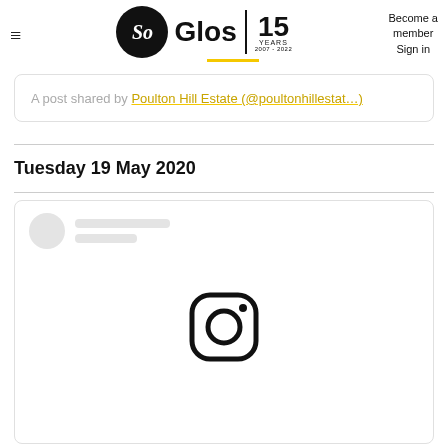So Glos | 15 Years — Become a member | Sign in
A post shared by Poulton Hill Estate (@poultonhillestat…)
Tuesday 19 May 2020
[Figure (screenshot): Instagram post embed placeholder with avatar skeleton and Instagram camera icon]